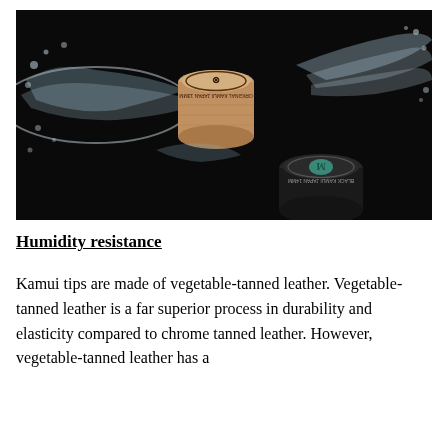[Figure (photo): A dramatic black background photograph showing two Kamui billiard cue tips surrounded by splashing water. The top tip is the Kamui Original (tan/leather-colored, labeled ORIGINAL KAMUI JAPAN 13MM) and the bottom-right tip is the Kamui Black (dark/black colored with teal center, labeled BLACK KAMUI JAPAN 14MM). Water splashes dynamically around both tips.]
Humidity resistance
Kamui tips are made of vegetable-tanned leather. Vegetable-tanned leather is a far superior process in durability and elasticity compared to chrome tanned leather. However, vegetable-tanned leather has a